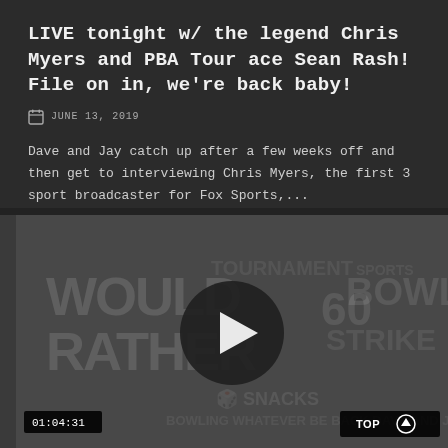LIVE tonight w/ the legend Chris Myers and PBA Tour ace Sean Rash! File on in, we're back baby!
JUNE 13, 2019
Dave and Jay catch up after a few weeks off and then get to interviewing Chris Myers, the first 3 sport broadcaster for Fox Sports,...
[Figure (screenshot): Video thumbnail showing 'WOULD RATHER' text overlaid on a dark background with a play button in the center. Duration badge shows 01:04:31. Top button in lower right corner.]